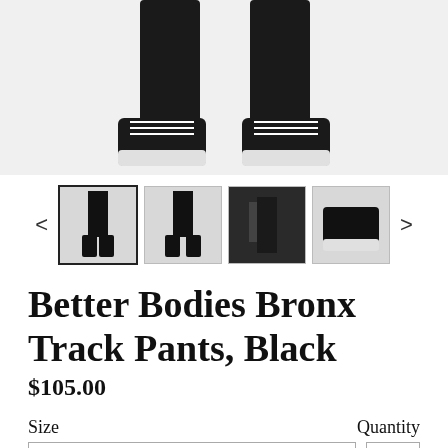[Figure (photo): Main product photo showing lower legs and feet of a person wearing black track pants and black/white sneakers on a white background]
[Figure (photo): Thumbnail gallery with 4 product images of black track pants and navigation arrows]
Better Bodies Bronx Track Pants, Black
$105.00
Size
Quantity